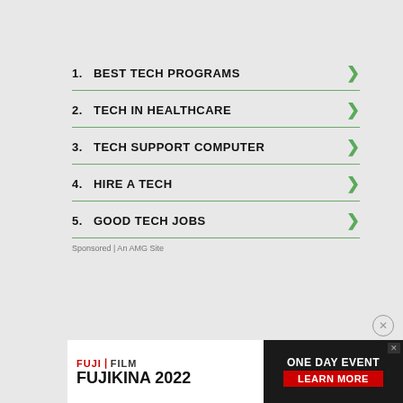1. BEST TECH PROGRAMS
2. TECH IN HEALTHCARE
3. TECH SUPPORT COMPUTER
4. HIRE A TECH
5. GOOD TECH JOBS
Sponsored | An AMG Site
[Figure (other): FUJIFILM FUJIKINA 2022 advertisement banner with ONE DAY EVENT and LEARN MORE text]